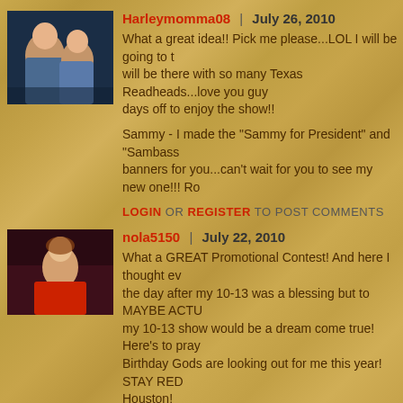[Figure (photo): Profile photo of Harleymomma08, showing a couple, dark blue background]
Harleymomma08 | July 26, 2010
What a great idea!! Pick me please...LOL I will be going to the show and will be there with so many Texas Readheads...love you guys!! I took 2 days off to enjoy the show!!
Sammy - I made the "Sammy for President" and "Sambass..." banners for you...can't wait for you to see my new one!!! Ro...
LOGIN OR REGISTER TO POST COMMENTS
[Figure (photo): Profile photo of nola5150, showing a person in red jacket, dark background]
nola5150 | July 22, 2010
What a GREAT Promotional Contest! And here I thought even being there the day after my 10-13 was a blessing but to MAYBE ACTUALLY WIN tickets to my 10-13 show would be a dream come true! Here's to praying that the Birthday Gods are looking out for me this year! STAY RED ! Houston!
LOGIN OR REGISTER TO POST COMMENTS
[Figure (logo): Profile logo/avatar for amberd021, showing a red stylized R letter on black background]
amberd021 | July 20, 2010
My husband and I are pregnant with Twins and still heading to Houston with a belly full of future Red Rockers!!!!